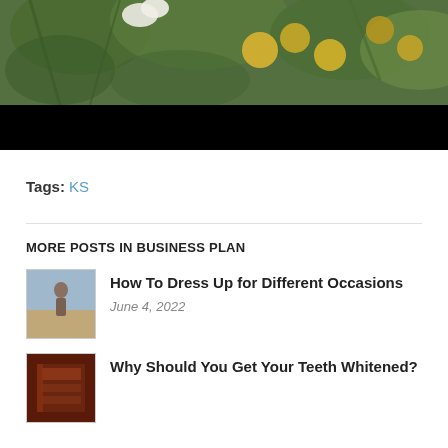[Figure (photo): A close-up photo of green plant leaves with yellow/golden fruits, with a black lower band]
Tags: KS
MORE POSTS IN BUSINESS PLAN
[Figure (photo): Thumbnail image of a person standing outdoors]
How To Dress Up for Different Occasions
June 4, 2022
[Figure (photo): Thumbnail image of a book or box with dark red/brown coloring]
Why Should You Get Your Teeth Whitened?